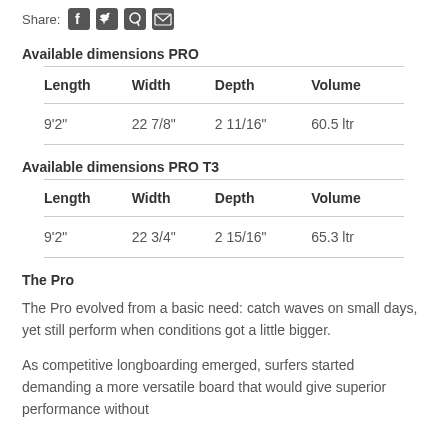Share:
Available dimensions PRO
| Length | Width | Depth | Volume |
| --- | --- | --- | --- |
| 9'2" | 22 7/8" | 2 11/16" | 60.5 ltr |
Available dimensions PRO T3
| Length | Width | Depth | Volume |
| --- | --- | --- | --- |
| 9'2" | 22 3/4" | 2 15/16" | 65.3 ltr |
The Pro
The Pro evolved from a basic need: catch waves on small days, yet still perform when conditions got a little bigger.
As competitive longboarding emerged, surfers started demanding a more versatile board that would give superior performance without